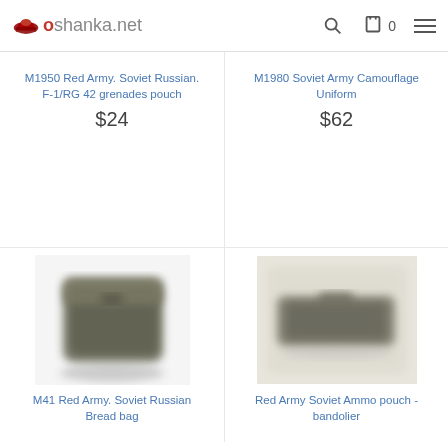oshanka.net
M1950 Red Army. Soviet Russian. F-1/RG 42 grenades pouch
$24
[Figure (photo): Dark olive/khaki military grenade pouch, square shaped, blurred product photo]
M1980 Soviet Army Camouflage Uniform
$62
[Figure (photo): Beige/cream colored rectangular military ammo pouch, blurred product photo on light background]
M41 Red Army. Soviet Russian Bread bag
Red Army Soviet Ammo pouch - bandolier